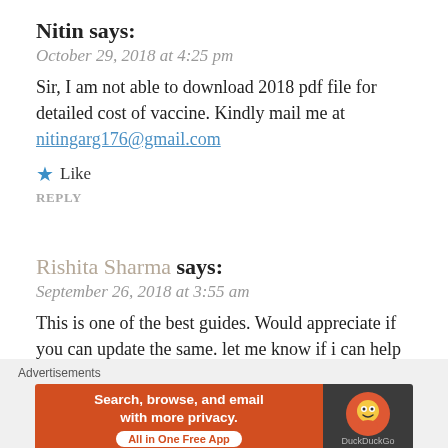Nitin says:
October 29, 2018 at 4:25 pm
Sir, I am not able to download 2018 pdf file for detailed cost of vaccine. Kindly mail me at nitingarg176@gmail.com
★ Like
REPLY
Rishita Sharma says:
September 26, 2018 at 3:55 am
This is one of the best guides. Would appreciate if you can update the same. let me know if i can help you
★ Like
[Figure (screenshot): DuckDuckGo advertisement banner: 'Search, browse, and email with more privacy. All in One Free App' on orange background with DuckDuckGo logo on dark background]